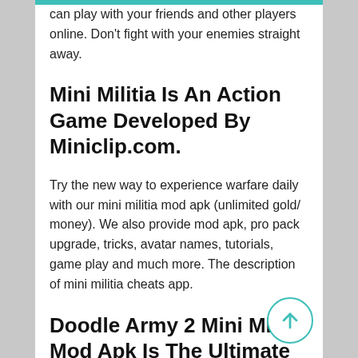can play with your friends and other players online. Don't fight with your enemies straight away.
Mini Militia Is An Action Game Developed By Miniclip.com.
Try the new way to experience warfare daily with our mini militia mod apk (unlimited gold/ money). We also provide mod apk, pro pack upgrade, tricks, avatar names, tutorials, game play and much more. The description of mini militia cheats app.
Doodle Army 2 Mini Militia Mod Apk Is The Ultimate Version Of The Game That